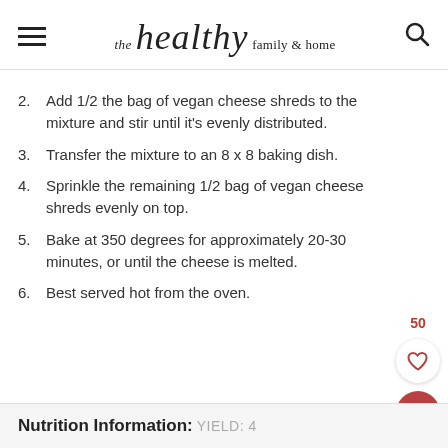the healthy family & home
2. Add 1/2 the bag of vegan cheese shreds to the mixture and stir until it's evenly distributed.
3. Transfer the mixture to an 8 x 8 baking dish.
4. Sprinkle the remaining 1/2 bag of vegan cheese shreds evenly on top.
5. Bake at 350 degrees for approximately 20-30 minutes, or until the cheese is melted.
6. Best served hot from the oven.
Nutrition Information: YIELD: 4